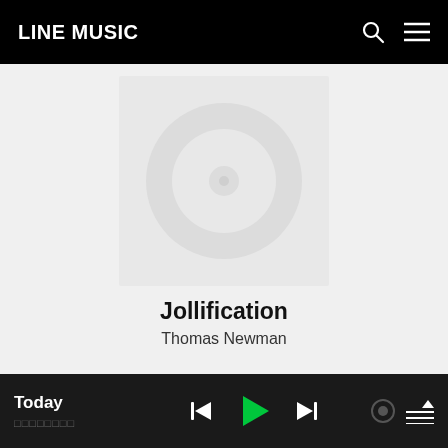LINE MUSIC
[Figure (illustration): Album art placeholder: light grey square with a faint circular disc icon in the center]
Jollification
Thomas Newman
Today — playback controls bar with previous, play, next, and queue buttons